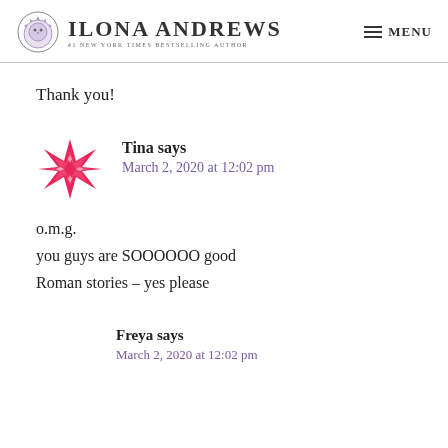ILONA ANDREWS — #1 New York Times Bestselling Author | MENU
Thank you!
[Figure (illustration): Pink geometric star/flower avatar icon for commenter Tina]
Tina says
March 2, 2020 at 12:02 pm
o.m.g.
you guys are SOOOOOO good
Roman stories – yes please
Freya says
March 2, 2020 at 12:02 pm